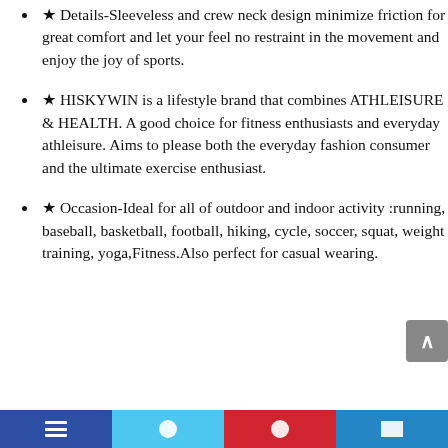★ Details-Sleeveless and crew neck design minimize friction for great comfort and let your feel no restraint in the movement and enjoy the joy of sports.
★ HISKYWIN is a lifestyle brand that combines ATHLEISURE & HEALTH. A good choice for fitness enthusiasts and everyday athleisure. Aims to please both the everyday fashion consumer and the ultimate exercise enthusiast.
★ Occasion-Ideal for all of outdoor and indoor activity :running, baseball, basketball, football, hiking, cycle, soccer, squat, weight training, yoga,Fitness.Also perfect for casual wearing.